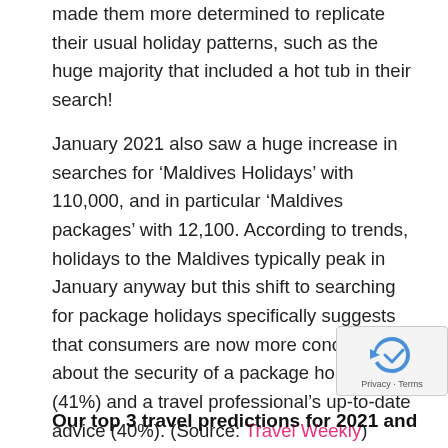made them more determined to replicate their usual holiday patterns, such as the huge majority that included a hot tub in their search!
January 2021 also saw a huge increase in searches for ‘Maldives Holidays’ with 110,000, and in particular ‘Maldives packages’ with 12,100. According to trends, holidays to the Maldives typically peak in January anyway but this shift to searching for package holidays specifically suggests that consumers are now more concerned about the security of a package holiday (41%) and a travel professional’s up-to-date advice (40%). (Source: Travel Weekly)
Our top 3 travel predictions for 2021 and